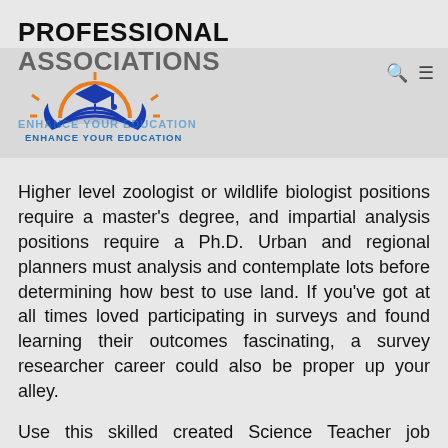PROFESSIONAL ASSOCIATIONS
[Figure (logo): Education logo with a book, graduation cap, sunrise and leaves in blue, yellow, and orange colors, with text 'ENHANCE YOUR EDUCATION']
Higher level zoologist or wildlife biologist positions require a master's degree, and impartial analysis positions require a Ph.D. Urban and regional planners must analysis and contemplate lots before determining how best to use land. If you've got at all times loved participating in surveys and found learning their outcomes fascinating, a survey researcher career could also be proper up your alley.
Use this skilled created Science Teacher job description instance to achieve some inspiration on the way to greatest craft your job